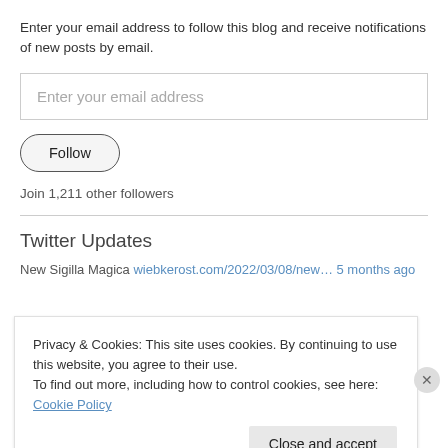Enter your email address to follow this blog and receive notifications of new posts by email.
Enter your email address
Follow
Join 1,211 other followers
Twitter Updates
New Sigilla Magica wiebkerost.com/2022/03/08/new… 5 months ago
Privacy & Cookies: This site uses cookies. By continuing to use this website, you agree to their use.
To find out more, including how to control cookies, see here: Cookie Policy
Close and accept